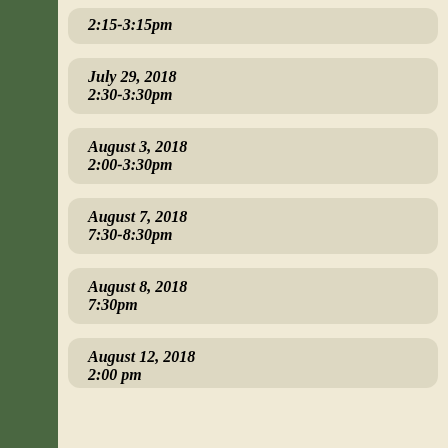2:15-3:15pm
July 29, 2018
2:30-3:30pm
August 3, 2018
2:00-3:30pm
August 7, 2018
7:30-8:30pm
August 8, 2018
7:30pm
August 12, 2018
2:00 pm